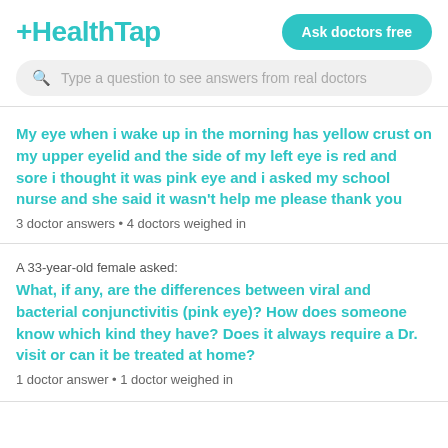[Figure (logo): HealthTap logo in teal color with plus sign prefix]
Ask doctors free
Type a question to see answers from real doctors
My eye when i wake up in the morning has yellow crust on my upper eyelid and the side of my left eye is red and sore i thought it was pink eye and i asked my school nurse and she said it wasn't help me please thank you
3 doctor answers • 4 doctors weighed in
A 33-year-old female asked:
What, if any, are the differences between viral and bacterial conjunctivitis (pink eye)? How does someone know which kind they have? Does it always require a Dr. visit or can it be treated at home?
1 doctor answer • 1 doctor weighed in